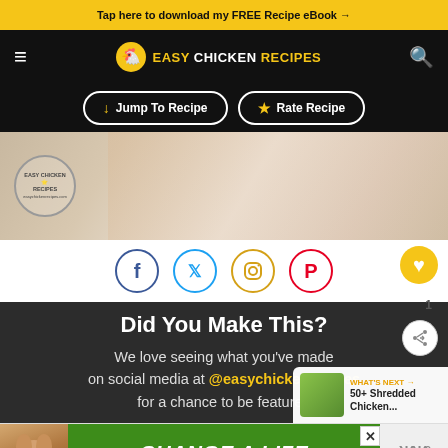Tap here to download my FREE Recipe eBook →
[Figure (logo): Easy Chicken Recipes logo with hamburger menu and search icon on black nav bar]
↓ Jump To Recipe | ★ Rate Recipe
[Figure (photo): Overhead photo of hands shredding chicken in a bowl on marble surface with Easy Chicken Recipes watermark]
[Figure (infographic): Social media sharing buttons: Facebook, Twitter, Instagram, Pinterest circles with heart and share icons]
Did You Make This?
We love seeing what you've made on social media at @easychickenrecipes for a chance to be featured
[Figure (infographic): WHAT'S NEXT → 50+ Shredded Chicken... thumbnail panel]
[Figure (infographic): CHANGE A LIFE advertisement banner with dog photo]